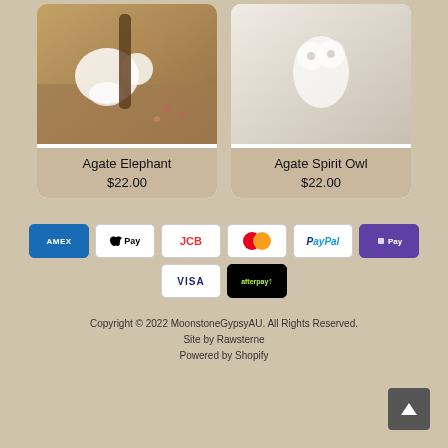[Figure (photo): Agate Elephant crystal figurine product image]
Agate Elephant
$22.00
[Figure (photo): Agate Spirit Owl crystal figurine product image]
Agate Spirit Owl
$22.00
[Figure (other): Payment method icons: American Express, Apple Pay, JCB, Mastercard, PayPal, Shop Pay, Visa, Afterpay]
Copyright © 2022 MoonstoneGypsyAU. All Rights Reserved.
Site by Rawsterne
Powered by Shopify